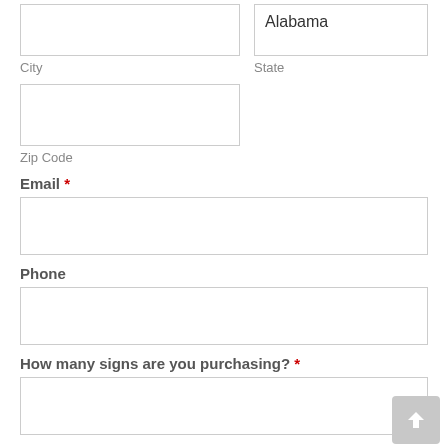City
State
Zip Code
Email *
Phone
How many signs are you purchasing? *
Safety Signs *
1 sign - $ 25.00   2 signs - $ 50.00